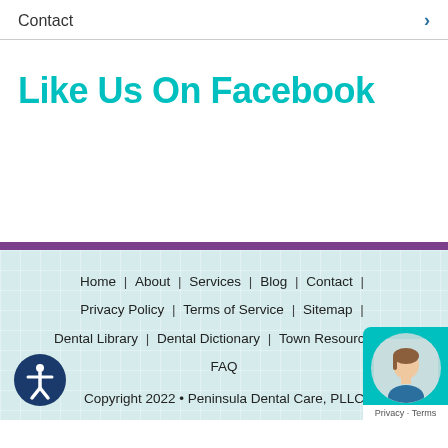Contact
Like Us On Facebook
Home | About | Services | Blog | Contact | Privacy Policy | Terms of Service | Sitemap | Dental Library | Dental Dictionary | Town Resources | FAQ
Copyright 2022 • Peninsula Dental Care, PLLC